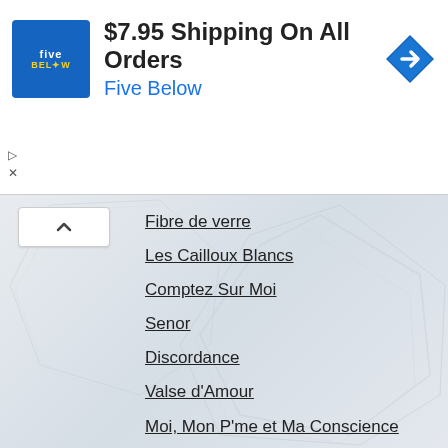[Figure (screenshot): Five Below advertisement banner showing logo, '$7.95 Shipping On All Orders', 'Five Below' text in blue, and a blue navigation arrow icon]
Fibre de verre
Les Cailloux Blancs
Comptez Sur Moi
Senor
Discordance
Valse d'Amour
Moi, Mon P'me et Ma Conscience
Berry-Bouy
High, low, in
Lux
Les Portes de l'Ennui
Tout Excuse